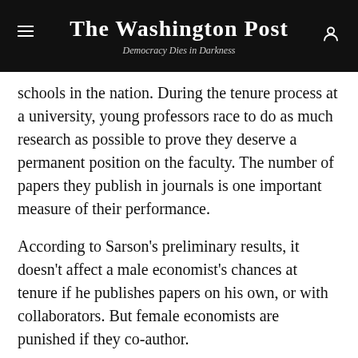The Washington Post — Democracy Dies in Darkness
schools in the nation. During the tenure process at a university, young professors race to do as much research as possible to prove they deserve a permanent position on the faculty. The number of papers they publish in journals is one important measure of their performance.
According to Sarson's preliminary results, it doesn't affect a male economist's chances at tenure if he publishes papers on his own, or with collaborators. But female economists are punished if they co-author.
"When it's not clear who did the work, or who had the idea behind something, men seem to get more credit,"